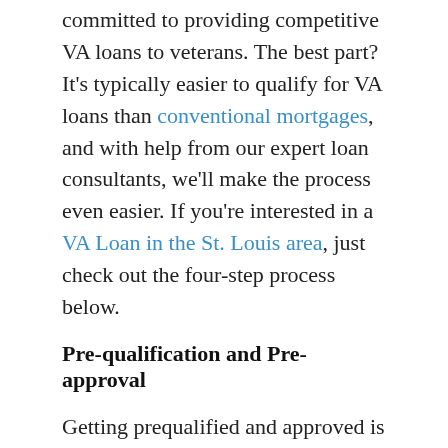committed to providing competitive VA loans to veterans. The best part? It's typically easier to qualify for VA loans than conventional mortgages, and with help from our expert loan consultants, we'll make the process even easier. If you're interested in a VA Loan in the St. Louis area, just check out the four-step process below.
Pre-qualification and Pre-approval
Getting prequalified and approved is a simple but incredibly important step in the process. Pre-approval typically involves providing and verifying information that you already have, such as your home buying intentions, income stability, and tax records. Don't worry – even if you don't get